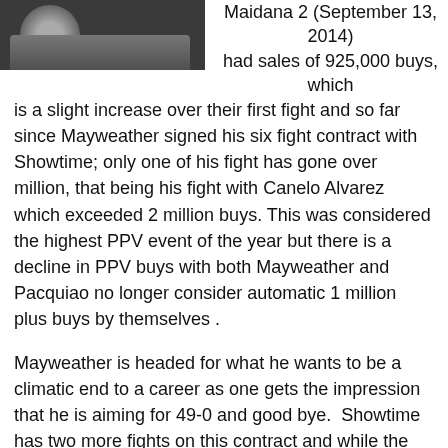[Figure (photo): Black and white photo of a boxer, cropped at top left of page]
Maidana 2 (September 13, 2014) had sales of 925,000 buys, which is a slight increase over their first fight and so far since Mayweather signed his six fight contract with Showtime; only one of his fight has gone over million, that being his fight with Canelo Alvarez which exceeded 2 million buys. This was considered the highest PPV event of the year but there is a decline in PPV buys with both Mayweather and Pacquiao no longer consider automatic 1 million plus buys by themselves .
Mayweather is headed for what he wants to be a climatic end to a career as one gets the impression that he is aiming for 49-0 and good bye.  Showtime has two more fights on this contract and while the numbers generated has yet to match their own expectation, Showtime at least have broadcast the big events in the boxing world .
The question is now where does Mayweather go for his next